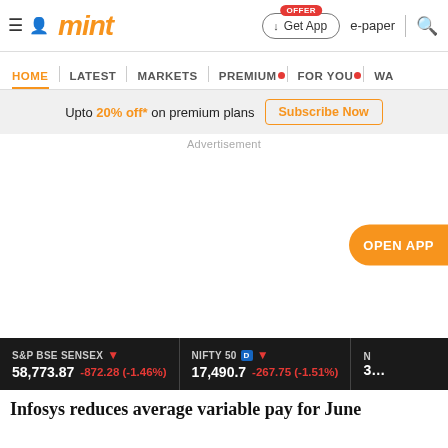mint — Get App | e-paper | Search
HOME | LATEST | MARKETS | PREMIUM | FOR YOU | W…
Upto 20% off* on premium plans  Subscribe Now
Advertisement
OPEN APP
S&P BSE SENSEX ▼ 58,773.87  -872.28 (-1.46%) | NIFTY 50 D ▼ 17,490.7  -267.75 (-1.51%) | N 3…
Infosys reduces average variable pay for June